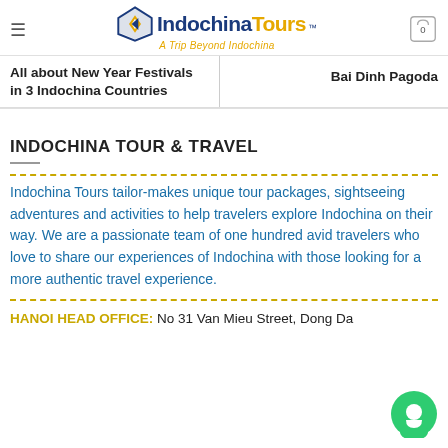IndochinaTours™ — A Trip Beyond Indochina
All about New Year Festivals in 3 Indochina Countries
Bai Dinh Pagoda
INDOCHINA TOUR & TRAVEL
Indochina Tours tailor-makes unique tour packages, sightseeing adventures and activities to help travelers explore Indochina on their way. We are a passionate team of one hundred avid travelers who love to share our experiences of Indochina with those looking for a more authentic travel experience.
HANOI HEAD OFFICE: No 31 Van Mieu Street, Dong Da